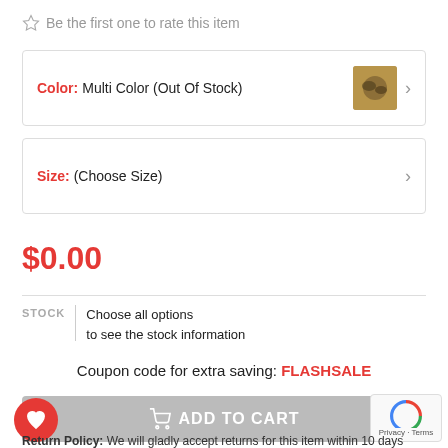Be the first one to rate this item
Color: Multi Color (Out Of Stock)
Size: (Choose Size)
$0.00
STOCK   Choose all options to see the stock information
Coupon code for extra saving: FLASHSALE
ADD TO CART
Return Policy: We will gladly accept returns for this item within 10 days